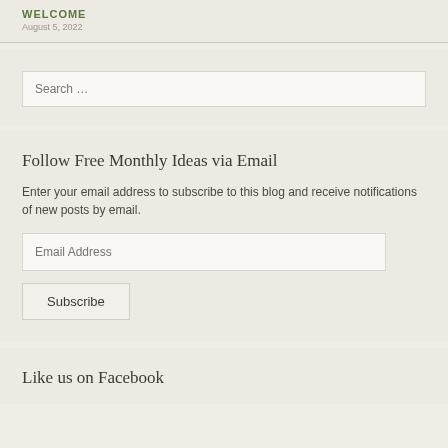WELCOME
Search …
Follow Free Monthly Ideas via Email
Enter your email address to subscribe to this blog and receive notifications of new posts by email.
Email Address
Subscribe
Like us on Facebook